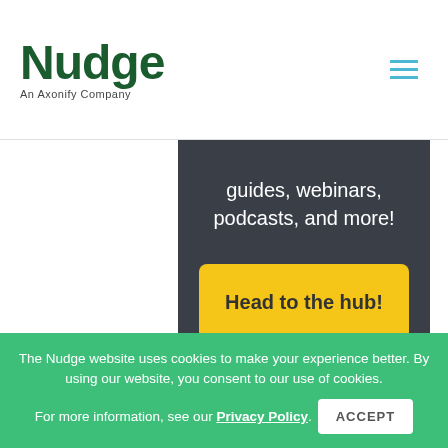[Figure (logo): Nudge logo with tagline 'An Axonify Company' in dark green]
guides, webinars, podcasts, and more!
Head to the hub!
The Nudge website uses cookies to make your experience better. By using our website, you consent to our use of cookies. For more information, see our Privacy Policy. ACCEPT